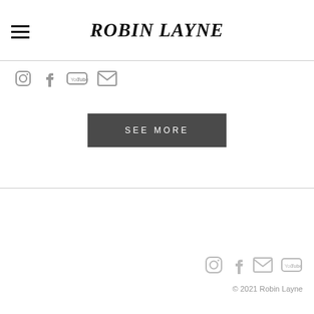ROBIN LAYNE
[Figure (infographic): Social media icons row: Instagram, Facebook, YouTube, Email]
SEE MORE
[Figure (infographic): Footer social media icons: Instagram, Facebook, Email, YouTube]
© 2021 Robin Layne